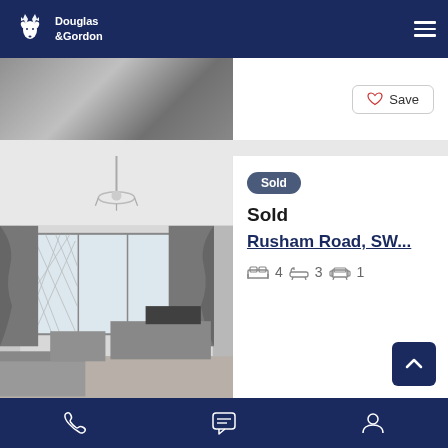Douglas & Gordon
[Figure (screenshot): Partial property listing card at top, cut off — showing a grey/dark property image on the left and a Save button on the right]
[Figure (photo): Black and white interior photo of a living room with chandelier, bay windows with lattice panes and curtains, TV unit, and sofa]
Sold
Sold
Rusham Road, SW...
4  3  1
Phone | Chat | Account icons